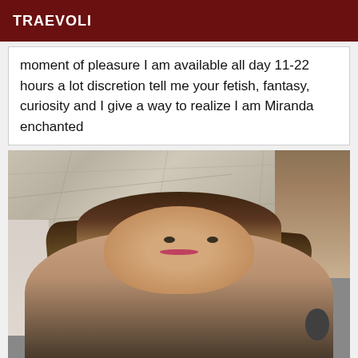TRAEVOLI
moment of pleasure I am available all day 11-22 hours a lot discretion tell me your fetish, fantasy, curiosity and I give a way to realize I am Miranda enchanted
[Figure (photo): Photo of a person with long brown-blonde hair and makeup, selfie taken indoors with a textured ceiling visible in the background]